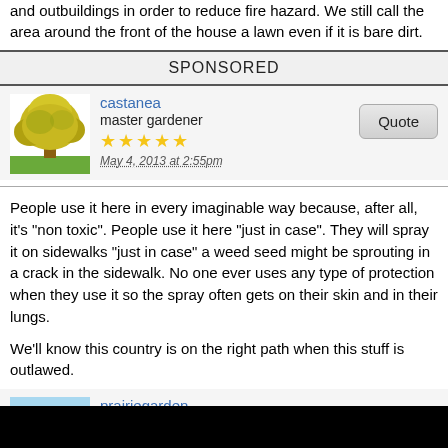and outbuildings in order to reduce fire hazard. We still call the area around the front of the house a lawn even if it is bare dirt.
SPONSORED
castanea
master gardener
★★★★★
May 4, 2013 at 2:55pm
People use it here in every imaginable way because, after all, it's "non toxic". People use it here "just in case". They will spray it on sidewalks "just in case" a weed seed might be sprouting in a crack in the sidewalk. No one ever uses any type of protection when they use it so the spray often gets on their skin and in their lungs.

We'll know this country is on the right path when this stuff is outlawed.
prairiegarden
Seasoned vet
★★★★
Dec 15, 2015 at 3:01am